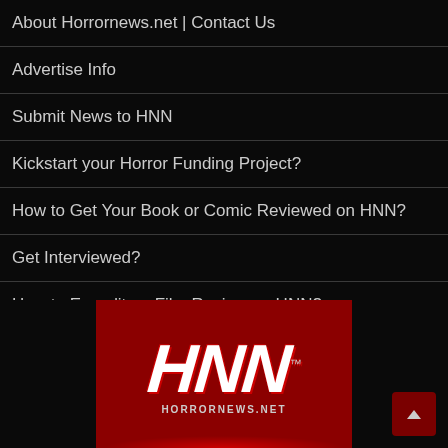About Horrornews.net | Contact Us
Advertise Info
Submit News to HNN
Kickstart your Horror Funding Project?
How to Get Your Book or Comic Reviewed on HNN?
Get Interviewed?
How to Expedite a Film Review on HNN?
Submit Horror Short Film for Review
HNN Privacy Policy
Login
[Figure (logo): HNN Horrornews.net logo on red background with blood pool effect and TM mark]